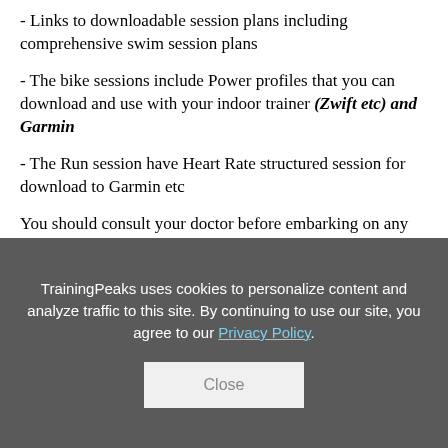- Links to downloadable session plans including comprehensive swim session plans
- The bike sessions include Power profiles that you can download and use with your indoor trainer (Zwift etc) and Garmin
- The Run session have Heart Rate structured session for download to Garmin etc
You should consult your doctor before embarking on any physical fitness training. For any of the sessions, especially the strength and conditioning sessions, if you are unsure of the exercises then seek the help
TrainingPeaks uses cookies to personalize content and analyze traffic to this site. By continuing to use our site, you agree to our Privacy Policy.
Close